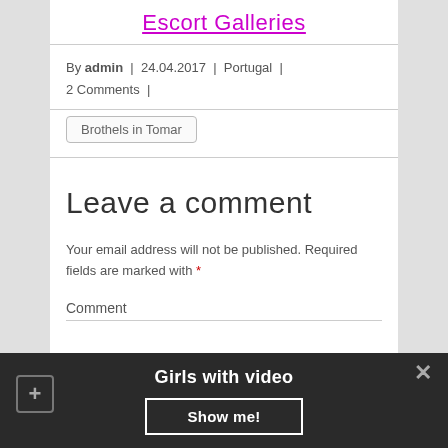Escort Galleries
By admin | 24.04.2017 | Portugal | 2 Comments |
Brothels in Tomar
Leave a comment
Your email address will not be published. Required fields are marked with *
Comment
Girls with video
Show me!